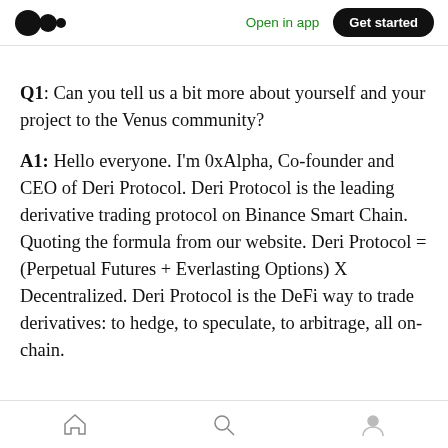Open in app  Get started
Q1: Can you tell us a bit more about yourself and your project to the Venus community?
A1: Hello everyone. I'm 0xAlpha, Co-founder and CEO of Deri Protocol. Deri Protocol is the leading derivative trading protocol on Binance Smart Chain.
Quoting the formula from our website. Deri Protocol = (Perpetual Futures + Everlasting Options) X Decentralized. Deri Protocol is the DeFi way to trade derivatives: to hedge, to speculate, to arbitrage, all on-chain.
home  search  profile